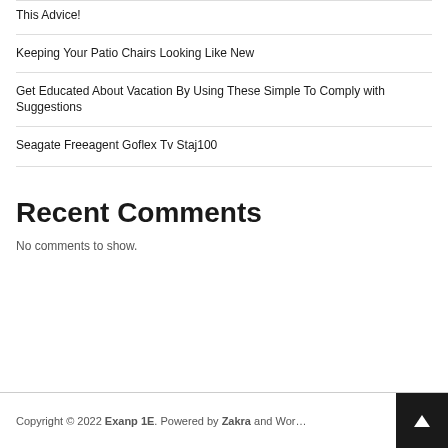This Advice!
Keeping Your Patio Chairs Looking Like New
Get Educated About Vacation By Using These Simple To Comply with Suggestions
Seagate Freeagent Goflex Tv Staj100
Recent Comments
No comments to show.
Copyright © 2022 Exanp 1E. Powered by Zakra and Wor…